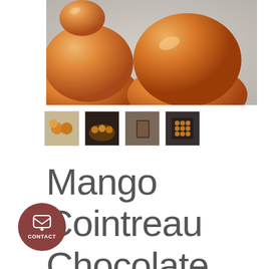[Figure (photo): Close-up photo of shiny orange/amber mango chocolate domes on a gray surface]
[Figure (photo): Four product thumbnail images showing various views of Mango Cointreau Chocolate products]
Mango Cointreau Chocolate
[Figure (other): Round dark red contact button with chat icon and CONTACT label]